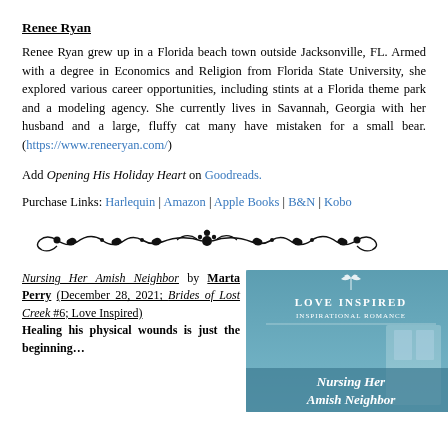Renee Ryan
Renee Ryan grew up in a Florida beach town outside Jacksonville, FL. Armed with a degree in Economics and Religion from Florida State University, she explored various career opportunities, including stints at a Florida theme park and a modeling agency. She currently lives in Savannah, Georgia with her husband and a large, fluffy cat many have mistaken for a small bear. (https://www.reneeryan.com/)
Add Opening His Holiday Heart on Goodreads.
Purchase Links: Harlequin | Amazon | Apple Books | B&N | Kobo
[Figure (illustration): Decorative ornamental divider with scrollwork and floral elements]
Nursing Her Amish Neighbor by Marta Perry (December 28, 2021; Brides of Lost Creek #6; Love Inspired)
Healing his physical wounds is just the beginning…
[Figure (photo): Book cover for Nursing Her Amish Neighbor - Love Inspired Inspirational Romance with blue/teal background showing a window and text]